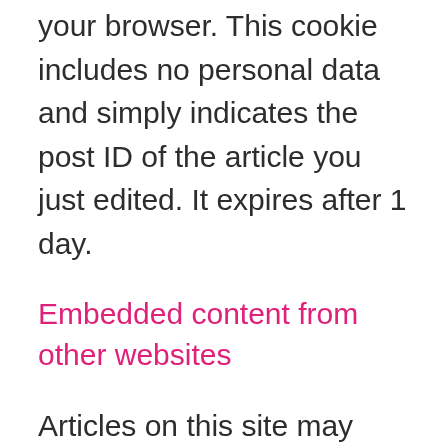your browser. This cookie includes no personal data and simply indicates the post ID of the article you just edited. It expires after 1 day.
Embedded content from other websites
Articles on this site may include embedded content (e.g. videos, images, articles, etc.). Embedded content from other websites behaves in the exact same way as if the visitor has visited the other